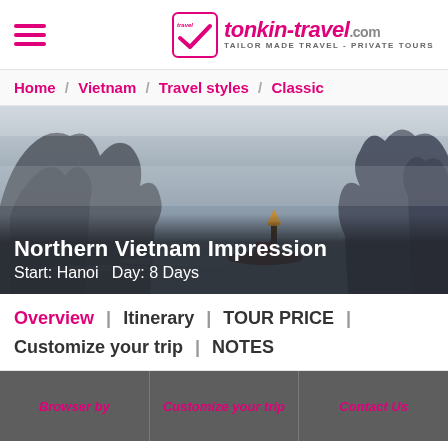tonkin-travel.com TAILOR MADE TRAVEL - PRIVATE TOURS
Home / Vietnam / Travel styles / Classic
[Figure (photo): Scenic photo of Ha Long Bay limestone karst formations with a boat and Vietnamese person in traditional hat on the water]
Northern Vietnam Impression
Start: Hanoi   Day: 8 Days
Overview | Itinerary | TOUR PRICE | Customize your trip | NOTES
Browser by | Customize your trip | Contact Us